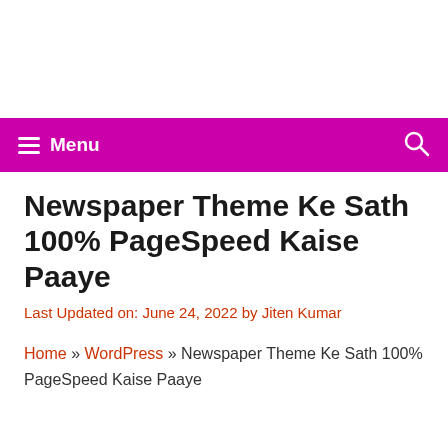Menu | [search icon]
Newspaper Theme Ke Sath 100% PageSpeed Kaise Paaye
Last Updated on: June 24, 2022 by Jiten Kumar
Home » WordPress » Newspaper Theme Ke Sath 100% PageSpeed Kaise Paaye